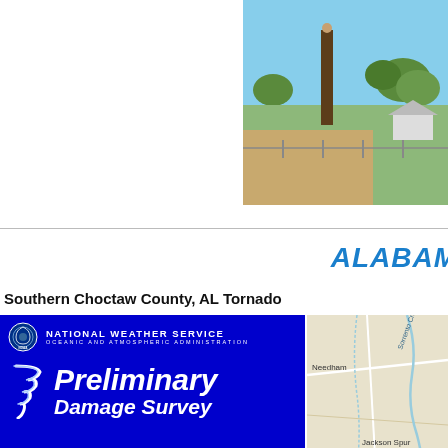[Figure (photo): Photo of a tree stump/damaged tree in a rural area with blue sky, green grass, fence and outbuildings in background - tornado damage survey photo]
ALABAMA
Southern Choctaw County, AL Tornado
[Figure (infographic): National Weather Service Preliminary Damage Survey banner/header graphic with blue background, NOAA logo, tornado icon, and text reading 'Preliminary Damage Survey' with sub-banner 'South Choctaw County, AL Tornado']
[Figure (map): Map showing Southern Choctaw County Alabama area with locations labeled including Needham, Jackson Spur, Hodgewood, and Sorrento Creek]